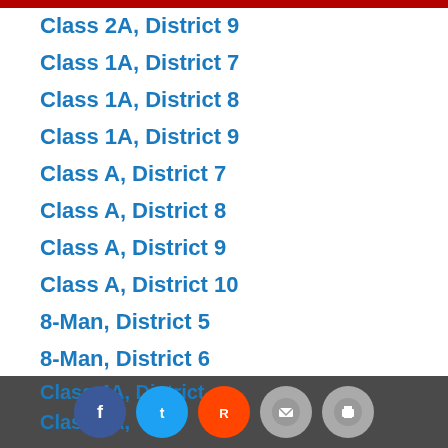Class 2A, District 9
Class 1A, District 7
Class 1A, District 8
Class 1A, District 9
Class A, District 7
Class A, District 8
Class A, District 9
Class A, District 10
8-Man, District 5
8-Man, District 6
8-Man, District 7
8-Man, District 8
Class 4A, District ... Class 4A, ...